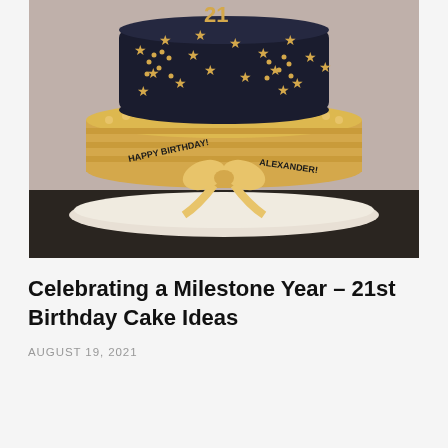[Figure (photo): A two-tier 21st birthday cake. The bottom tier is gold/champagne colored fondant with a ribbon bow and 'HAPPY BIRTHDAY ALEXANDER!' written around it. The top tier is dark navy/black fondant decorated with gold stars and dot patterns, topped with a gold '21' number topper.]
Celebrating a Milestone Year – 21st Birthday Cake Ideas
AUGUST 19, 2021